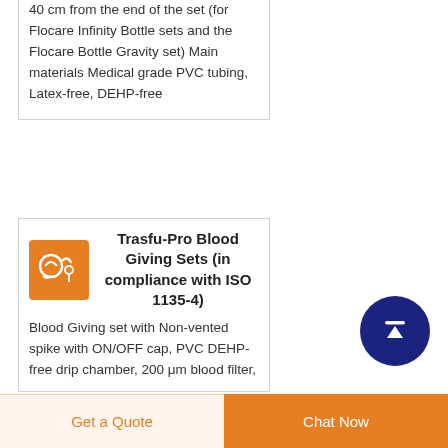40 cm from the end of the set (for Flocare Infinity Bottle sets and the Flocare Bottle Gravity set) Main materials Medical grade PVC tubing, Latex-free, DEHP-free
Trasfu-Pro Blood Giving Sets (in compliance with ISO 1135-4)
Blood Giving set with Non-vented spike with ON/OFF cap, PVC DEHP-free drip chamber, 200 μm blood filter,
[Figure (illustration): Orange square icon with medical/blood giving set illustration in white]
[Figure (illustration): Dark navy blue circular scroll-to-top button with white upward arrow]